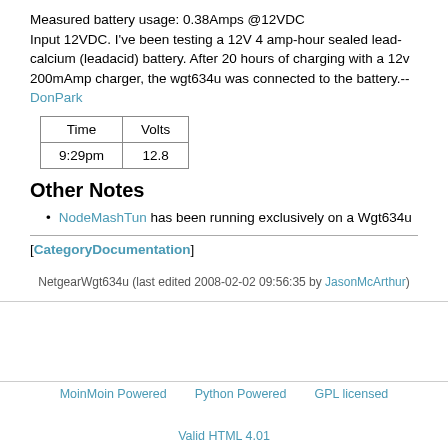Measured battery usage: 0.38Amps @12VDC
Input 12VDC. I've been testing a 12V 4 amp-hour sealed lead-calcium (leadacid) battery. After 20 hours of charging with a 12v 200mAmp charger, the wgt634u was connected to the battery.--DonPark
| Time | Volts |
| --- | --- |
| 9:29pm | 12.8 |
Other Notes
NodeMashTun has been running exclusively on a Wgt634u
[CategoryDocumentation]
NetgearWgt634u (last edited 2008-02-02 09:56:35 by JasonMcArthur)
MoinMoin Powered   Python Powered   GPL licensed   Valid HTML 4.01